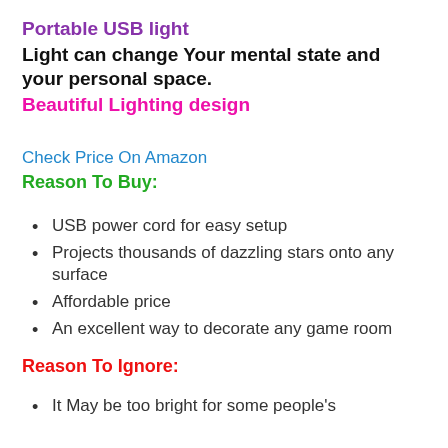Portable USB light
Light can change Your mental state and your personal space.
Beautiful Lighting design
Check Price On Amazon
Reason To Buy:
USB power cord for easy setup
Projects thousands of dazzling stars onto any surface
Affordable price
An excellent way to decorate any game room
Reason To Ignore:
It May be too bright for some people's